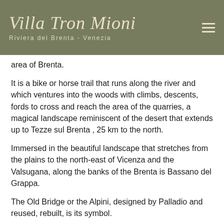Villa Tron Mioni
Riviera del Brenta - Venezia
area of Brenta.
It is a bike or horse trail that runs along the river and which ventures into the woods with climbs, descents, fords to cross and reach the area of the quarries, a magical landscape reminiscent of the desert that extends up to Tezze sul Brenta , 25 km to the north.
Immersed in the beautiful landscape that stretches from the plains to the north-east of Vicenza and the Valsugana, along the banks of the Brenta is Bassano del Grappa.
The Old Bridge or the Alpini, designed by Palladio and reused, rebuilt, is its symbol.
Bassano del Grappa was the birthplace of Jacopo da Ponte called Bassano, an extraordinary painter of the '500, known for its particular use of color and sensitivity to natural data, which